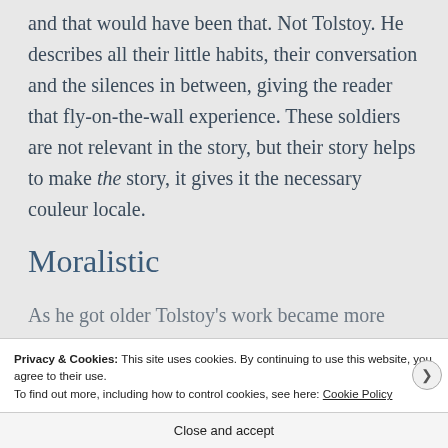and that would have been that. Not Tolstoy. He describes all their little habits, their conversation and the silences in between, giving the reader that fly-on-the-wall experience. These soldiers are not relevant in the story, but their story helps to make the story, it gives it the necessary couleur locale.
Moralistic
As he got older Tolstoy's work became more
Privacy & Cookies: This site uses cookies. By continuing to use this website, you agree to their use.
To find out more, including how to control cookies, see here: Cookie Policy
Close and accept